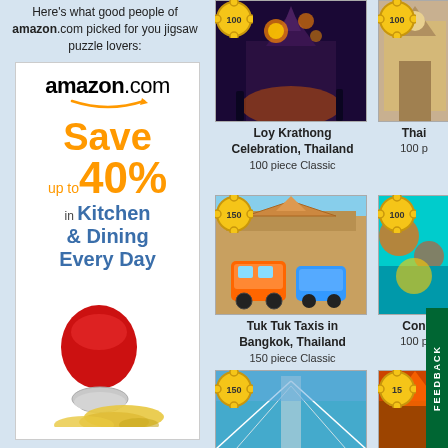Here's what good people of amazon.com picked for you jigsaw puzzle lovers:
[Figure (advertisement): Amazon.com advertisement: Save up to 40% in Kitchen & Dining Every Day, featuring a red KitchenAid stand mixer with yellow plates]
[Figure (photo): Loy Krathong Celebration, Thailand - night scene with lanterns and temple]
Loy Krathong Celebration, Thailand
100 piece Classic
[Figure (photo): Tuk Tuk Taxis in Bangkok, Thailand - colorful tuk tuks in front of temple]
Tuk Tuk Taxis in Bangkok, Thailand
150 piece Classic
[Figure (photo): Third puzzle image - modern architecture/bridge]
[Figure (photo): Thai puzzle top right - partially visible]
Thai
100 p
[Figure (photo): Right column second puzzle - colorful abstract]
Con
100 p